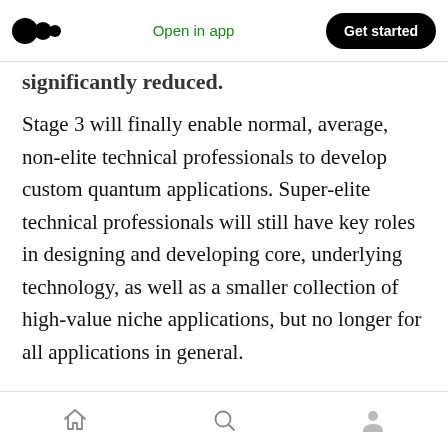Medium app header with logo, 'Open in app' link, and 'Get started' button
significantly reduced.
Stage 3 will finally enable normal, average, non-elite technical professionals to develop custom quantum applications. Super-elite technical professionals will still have key roles in designing and developing core, underlying technology, as well as a smaller collection of high-value niche applications, but no longer for all applications in general.
So there will always be a need for elite and super-elite technical professionals, especially in the
Bottom navigation bar with home, search, and profile icons